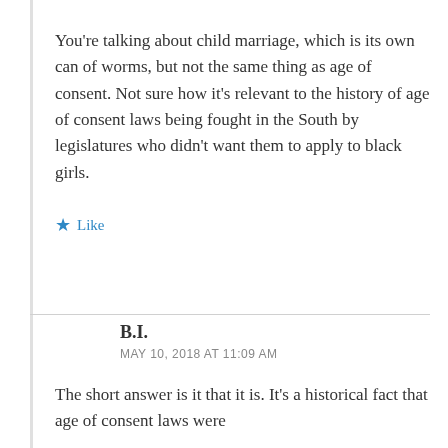You're talking about child marriage, which is its own can of worms, but not the same thing as age of consent. Not sure how it's relevant to the history of age of consent laws being fought in the South by legislatures who didn't want them to apply to black girls.
★ Like
B.I.
MAY 10, 2018 AT 11:09 AM
The short answer is it that it is. It's a historical fact that age of consent laws were